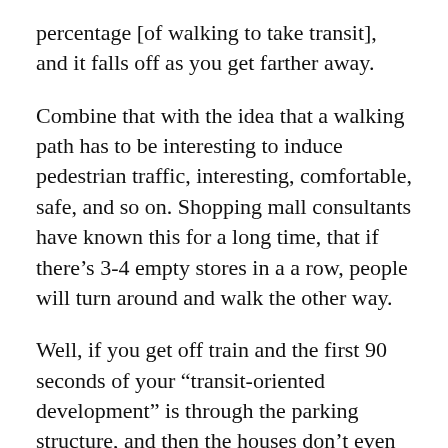percentage [of walking to take transit], and it falls off as you get farther away.
Combine that with the idea that a walking path has to be interesting to induce pedestrian traffic, interesting, comfortable, safe, and so on. Shopping mall consultants have known this for a long time, that if there’s 3-4 empty stores in a a row, people will turn around and walk the other way.
Well, if you get off train and the first 90 seconds of your “transit-oriented development” is through the parking structure, and then the houses don’t even begin until the 2nd or 3rd minute, it doesn’t matter what you do. It’s never going to be special, because what will happen is you will own a car and drive it into that parking lot. Basically, whatever you get to